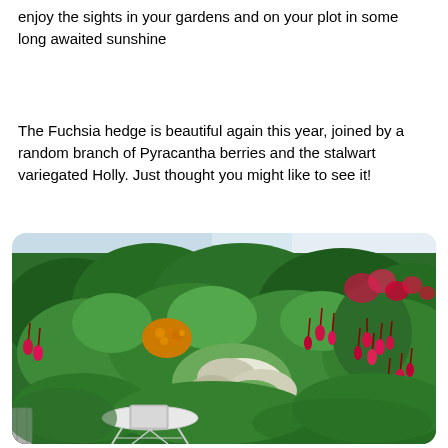enjoy the sights in your gardens and on your plot in some long awaited sunshine
The Fuchsia hedge is beautiful again this year, joined by a random branch of Pyracantha berries and the stalwart variegated Holly. Just thought you might like to see it!
[Figure (photo): A lush garden hedge featuring Fuchsia with red and pink drooping flowers, Pyracantha with orange-yellow berries, and variegated Holly with green and white foliage. A small white metal bistro table is visible in the lower left foreground.]